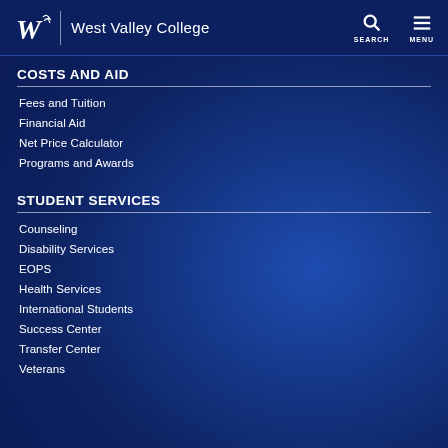West Valley College | SEARCH | MENU
COSTS AND AID
Fees and Tuition
Financial Aid
Net Price Calculator
Programs and Awards
STUDENT SERVICES
Counseling
Disability Services
EOPS
Health Services
International Students
Success Center
Transfer Center
Veterans